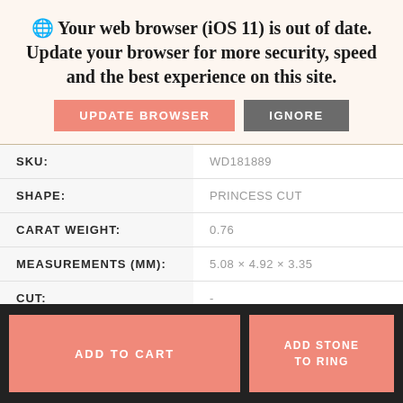🌐 Your web browser (iOS 11) is out of date. Update your browser for more security, speed and the best experience on this site.
UPDATE BROWSER | IGNORE
| Field | Value |
| --- | --- |
| SKU: | WD181889 |
| SHAPE: | PRINCESS CUT |
| CARAT WEIGHT: | 0.76 |
| MEASUREMENTS (MM): | 5.08 × 4.92 × 3.35 |
| CUT: | - |
| COLOR: | G |
ADD TO CART | ADD STONE TO RING